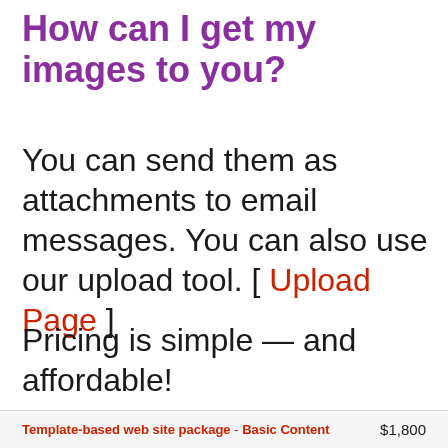How can I get my images to you?
You can send them as attachments to email messages. You can also use our upload tool. [ Upload Page ]
Pricing is simple — and affordable!
Template-based web site package - Basic Content   $1,800